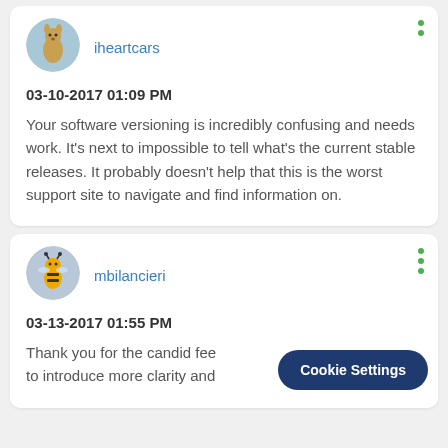[Figure (illustration): User avatar for iheartcars — kangaroo illustration in a blue circle]
iheartcars
03-10-2017 01:09 PM
Your software versioning is incredibly confusing and needs work. It's next to impossible to tell what's the current stable releases. It probably doesn't help that this is the worst support site to navigate and find information on.
[Figure (illustration): User avatar for mbilancieri — bee illustration in a grey circle]
mbilancieri
03-13-2017 01:55 PM
Thank you for the candid fee to introduce more clarity and
Cookie Settings